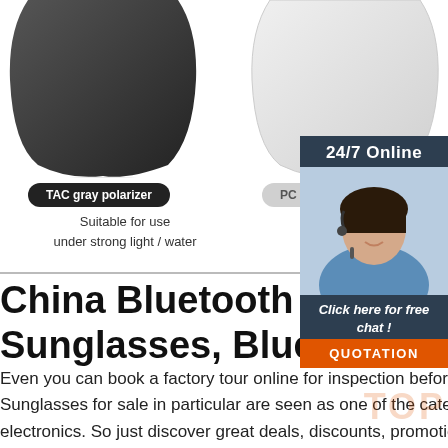[Figure (photo): Dark TAC gray polarizer lens (left) and light PC transparent lens (right) for sunglasses product]
TAC gray polarizer
PC transparent shall
Suitable for use
under strong light / water
Suitable
morning / eveni
[Figure (photo): 24/7 Online customer service agent with headset, with Click here for free chat and QUOTATION button]
China Bluetooth MP3 Sunglasses, Bluetooth M
Even you can book a factory tour online for inspection before making your deals. Bluetooth MP3 Sunglasses for sale in particular are seen as one of the categories with the greatest potential in consumer electronics. So just discover great deals, discounts, promotions and